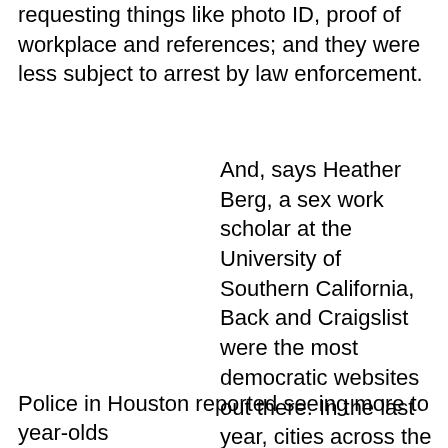requesting things like photo ID, proof of workplace and references; and they were less subject to arrest by law enforcement.
And, says Heather Berg, a sex work scholar at the University of Southern California, Back and Craigslist were the most democratic websites out there. In the last year, cities across the U.
Police in Houston reported seeing more to year-olds